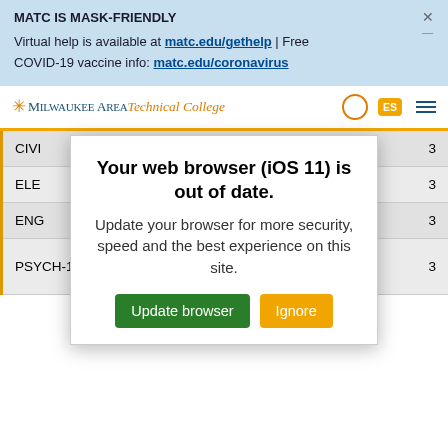MATC IS MASK-FRIENDLY
Virtual help is available at matc.edu/gethelp | Free COVID-19 vaccine info: matc.edu/coronavirus
[Figure (screenshot): Milwaukee Area Technical College navigation bar with logo, search icon, ES language badge, and hamburger menu icon]
[Figure (screenshot): Browser update modal dialog: 'Your web browser (iOS 11) is out of date. Update your browser for more security, speed and the best experience on this site.' with 'Update browser' (green) and 'Ignore' (orange) buttons]
| Course Code | Course Name | Credits |
| --- | --- | --- |
| CIVI... |  | 3 |
| ELEC... |  | 3 |
| ENGL... | or SPEECH course | 3 |
| PSYCH-199 | Psychology of Human Relations | 3 |